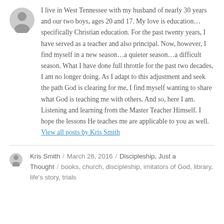[Figure (illustration): Gray generic user avatar icon (two overlapping circles suggesting a person silhouette)]
I live in West Tennessee with my husband of nearly 30 years and our two boys, ages 20 and 17. My love is education…specifically Christian education. For the past twenty years, I have served as a teacher and also principal. Now, however, I find myself in a new season…a quieter season…a difficult season. What I have done full throttle for the past two decades, I am no longer doing. As I adapt to this adjustment and seek the path God is clearing for me, I find myself wanting to share what God is teaching me with others. And so, here I am. Listening and learning from the Master Teacher Himself. I hope the lessons He teaches me are applicable to you as well. View all posts by Kris Smith
[Figure (illustration): Small gray generic user avatar circle]
Kris Smith / March 26, 2016 / Discipleship, Just a Thought / books, church, discipleship, imitators of God, library, life's story, trials